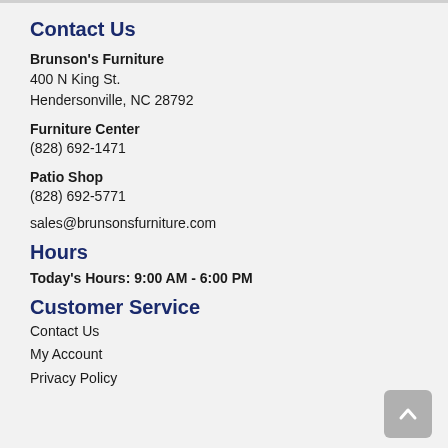Contact Us
Brunson's Furniture
400 N King St.
Hendersonville, NC 28792
Furniture Center
(828) 692-1471
Patio Shop
(828) 692-5771
sales@brunsonsfurniture.com
Hours
Today's Hours: 9:00 AM - 6:00 PM
Customer Service
Contact Us
My Account
Privacy Policy